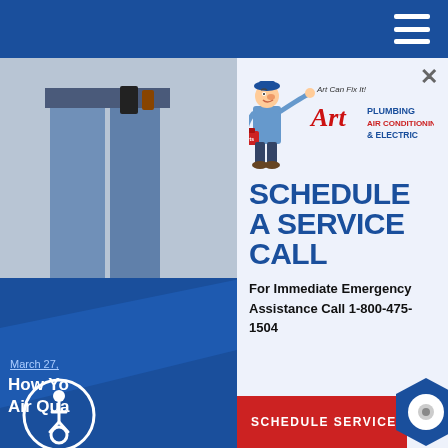[Figure (screenshot): Website screenshot showing a service scheduling popup modal over a background page. The background has a blue header bar with a hamburger menu, a photo of a person in jeans/work clothes on the left, a blue lower-left section with an accessibility icon and article text ('March 27, ... How Yo... Air Qua...'). The foreground modal is white/light blue with an Art Plumbing Air Conditioning & Electric logo, bold text 'SCHEDULE A SERVICE CALL', emergency contact info, and a red 'SCHEDULE SERVICE' button.]
SCHEDULE A SERVICE CALL
For Immediate Emergency Assistance Call 1-800-475-1504
SCHEDULE SERVICE